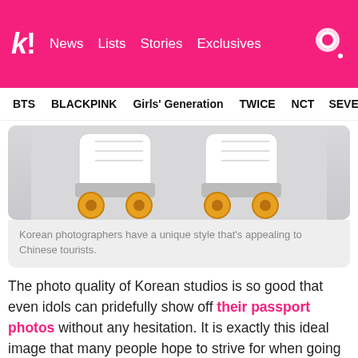k! News Lists Stories Exclusives
BTS BLACKPINK Girls' Generation TWICE NCT SEVE…
[Figure (photo): Close-up of white roller skates with orange/yellow wheels on a light background]
Korean photographers have a unique style that's appealing to Chinese tourists.
The photo quality of Korean studios is so good that even idols can pridefully show off their passport photos without any hesitation. It is exactly this ideal image that many people hope to strive for when going to Korean photo studios.
An ID photo shoot can cost around W20,000 for a basic photo shoot to W50,000 with hair styling